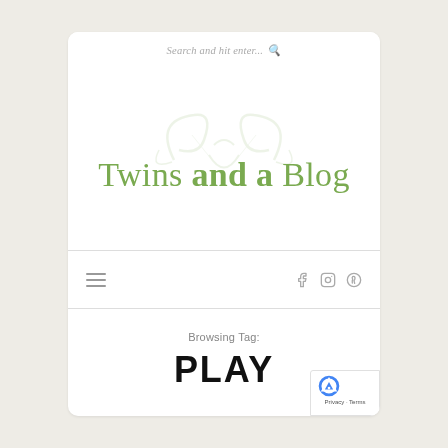Search and hit enter...
[Figure (logo): Twins and a Blog website logo with decorative green flourish/swirl graphic above the text]
[Figure (other): Navigation bar with hamburger menu icon on left and social media icons (Facebook, Instagram, Pinterest) on right]
Browsing Tag:
PLAY